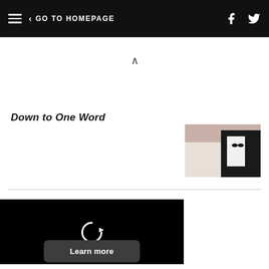GO TO HOMEPAGE
^
Down to One Word
[Figure (photo): Partial photo of a couple, woman in white dress and man in black tuxedo with bow tie]
[Figure (screenshot): Black video player area with a circular replay/refresh icon in white]
Learn more